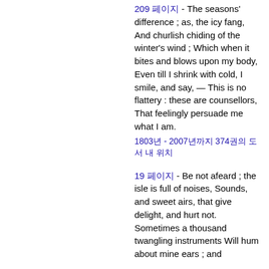209 페이지 - The seasons' difference ; as, the icy fang, And churlish chiding of the winter's wind ; Which when it bites and blows upon my body, Even till I shrink with cold, I smile, and say, — This is no flattery : these are counsellors, That feelingly persuade me what I am.
1803년 - 2007년까지 374권의 도서 내 위치
19 페이지 - Be not afeard ; the isle is full of noises, Sounds, and sweet airs, that give delight, and hurt not. Sometimes a thousand twangling instruments Will hum about mine ears ; and